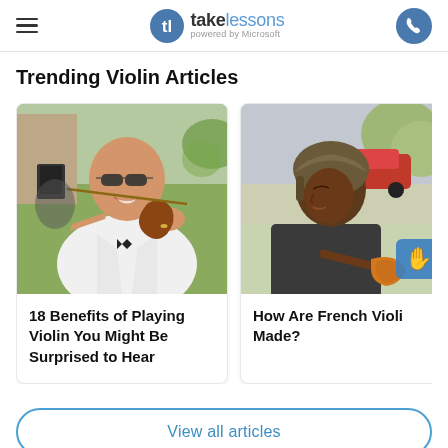takelessons powered by Microsoft
Trending Violin Articles
[Figure (photo): Bald man with sunglasses smiling and playing violin outdoors at what appears to be a wedding or event]
18 Benefits of Playing Violin You Might Be Surprised to Hear
[Figure (photo): Woman with braided hair looking down, partially visible, holding a violin (orange/amber colored), with a blue icon overlay]
How Are French Violins Made?
View all articles